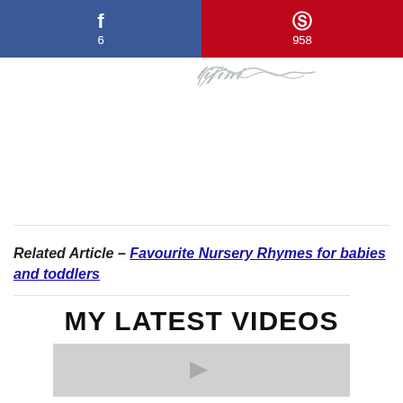f 6 | P 958
[Figure (logo): Cursive script logo/signature in light gray]
Related Article – Favourite Nursery Rhymes for babies and toddlers
MY LATEST VIDEOS
[Figure (screenshot): Video thumbnail placeholder in light gray with play icon]